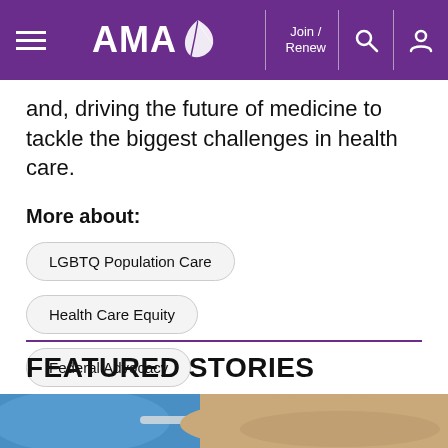AMA — Join / Renew
and, driving the future of medicine to tackle the biggest challenges in health care.
More about:
LGBTQ Population Care
Health Care Equity
Federal Advocacy
FEATURED STORIES
[Figure (photo): Close-up photo of a medical professional in blue gloves administering a vaccine or injection to a patient's arm.]